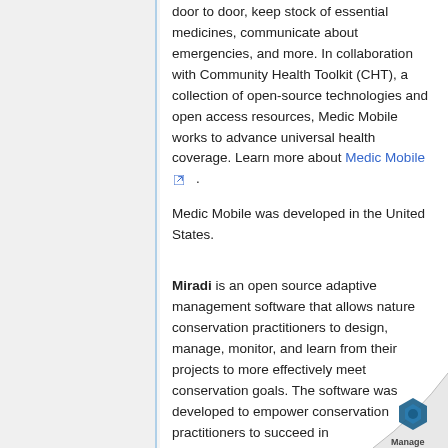door to door, keep stock of essential medicines, communicate about emergencies, and more. In collaboration with Community Health Toolkit (CHT), a collection of open-source technologies and open access resources, Medic Mobile works to advance universal health coverage. Learn more about Medic Mobile.
Medic Mobile was developed in the United States.
Miradi is an open source adaptive management software that allows nature conservation practitioners to design, manage, monitor, and learn from their projects to more effectively meet conservation goals. The software was developed to empower conservation practitioners to succeed in